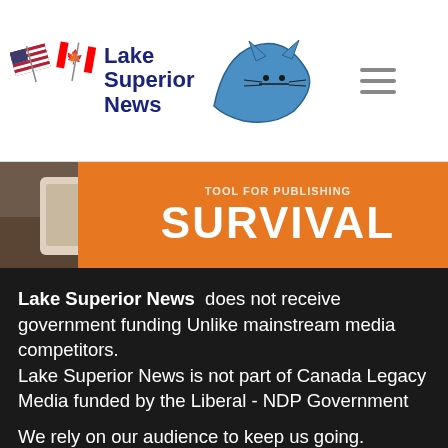[Figure (logo): Lake Superior News logo with US and Canadian flags and blue map silhouette of the Lake Superior region]
[Figure (illustration): Banner image showing a hand with a tablet and orange overlay reading 'TOOL FOR PUBLISHING SURVIVAL']
Lake Superior News does not receive government funding Unlike mainstream media competitors.
Lake Superior News is not part of Canada Legacy Media funded by the Liberal - NDP Government
We rely on our audience to keep us going.
Please support Lake Superior News with a donation.